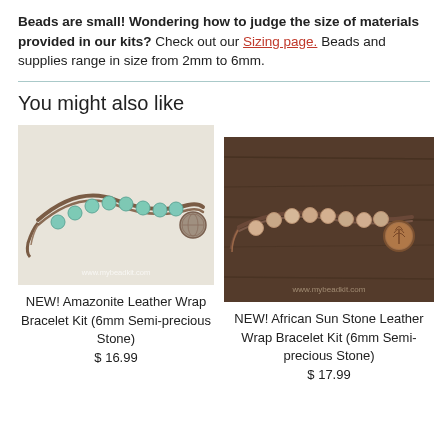Beads are small! Wondering how to judge the size of materials provided in our kits? Check out our Sizing page. Beads and supplies range in size from 2mm to 6mm.
You might also like
[Figure (photo): Amazonite leather wrap bracelet with teal-green beads and a globe button clasp on a light background, watermarked www.mybeadkit.com]
NEW! Amazonite Leather Wrap Bracelet Kit (6mm Semi-precious Stone)
$ 16.99
[Figure (photo): African Sun Stone leather wrap bracelet with peach/cream beads and a copper tree-of-life button clasp on a dark wood background, watermarked www.mybeadkit.com]
NEW! African Sun Stone Leather Wrap Bracelet Kit (6mm Semi-precious Stone)
$ 17.99